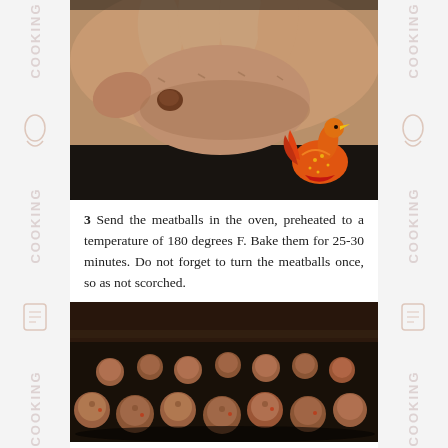[Figure (photo): Close-up photo of hands rolling a meatball, with a decorative bird sticker in the bottom right corner]
3 Send the meatballs in the oven, preheated to a temperature of 180 degrees F. Bake them for 25-30 minutes. Do not forget to turn the meatballs once, so as not scorched.
[Figure (photo): Photo of raw meatballs arranged on a dark baking tray]